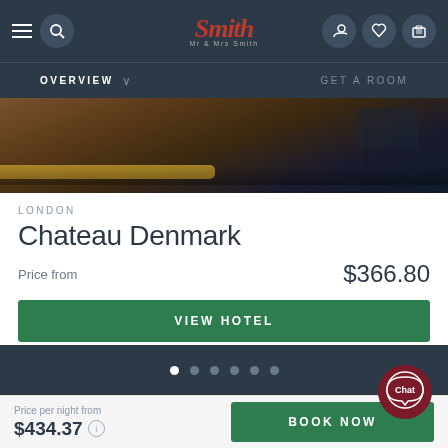Mr & Mrs Smith — Navigation bar with overview and Get a Room
[Figure (photo): Hotel room interior photo showing a bed/bench with yellow accent and dark moody atmosphere]
LONDON
Chateau Denmark
Price from   $366.80
VIEW HOTEL
Price per night from
$434.37
BOOK NOW